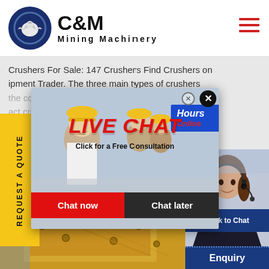[Figure (logo): C&M Mining Machinery logo with dark blue circular eagle emblem and bold text]
Crushers For Sale: 147 Crushers Find Crushers on Equipment Trader. The three main types of crushers the con... l the... act cru... erences... for you... ipment Crusher, GT440 is Trac...
[Figure (infographic): Live Chat popup overlay with workers in hard hats, LIVE CHAT title in red, Click for a Free Consultation, Chat now and Chat later buttons, Hours Online tag, and X close button]
[Figure (photo): Yellow industrial crusher machinery part close-up photo]
[Figure (photo): Customer service agent woman with headset smiling, with Click to Chat button and Enquiry bar below]